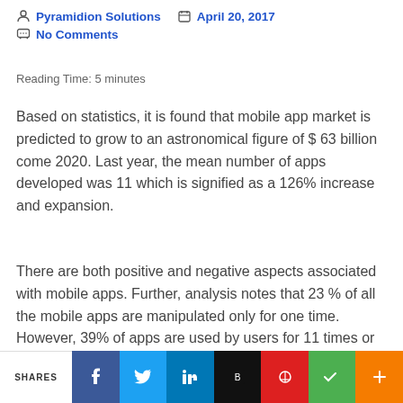Pyramidion Solutions   April 20, 2017   No Comments
Reading Time: 5 minutes
Based on statistics, it is found that mobile app market is predicted to grow to an astronomical figure of $ 63 billion come 2020. Last year, the mean number of apps developed was 11 which is signified as a 126% increase and expansion.
There are both positive and negative aspects associated with mobile apps. Further, analysis notes that 23 % of all the mobile apps are manipulated only for one time. However, 39% of apps are used by users for 11 times or more. It is related to the situation and timing which would place a mobile app in any one of the resultant statistics.
SHARES [social share buttons]